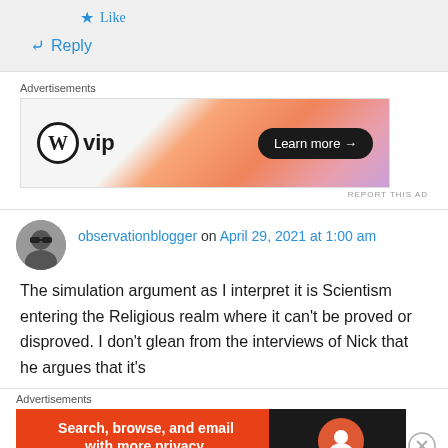Like
Reply
Advertisements
[Figure (other): WordPress VIP advertisement banner with orange gradient background and Learn more button]
REPORT THIS AD
observationblogger on April 29, 2021 at 1:00 am
The simulation argument as I interpret it is Scientism entering the Religious realm where it can't be proved or disproved. I don't glean from the interviews of Nick that he argues that it's
Advertisements
[Figure (other): DuckDuckGo advertisement banner - Search, browse, and email with more privacy. All in One Free App]
REPORT THIS AD